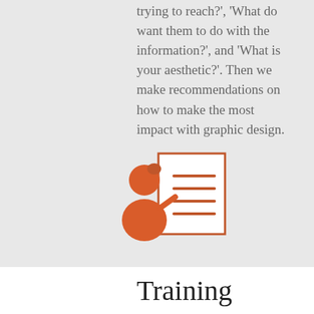trying to reach?', 'What do want them to do with the information?', and 'What is your aesthetic?'. Then we make recommendations on how to make the most impact with graphic design.
[Figure (illustration): Icon of a person (with orange hair/body) pointing at a document/page with lines on it, representing training or presentation.]
Training
Develop your workforce, educate your customers
We create effective training programs and curriculum to reach your employees or customers. We cater to various learning styles and specialize in in-person, online, and blended training programs that will ensure consistency, no matter where or when lessons are